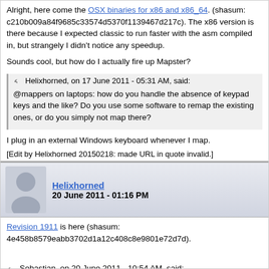Alright, here come the OSX binaries for x86 and x86_64. (shasum: c210b009a84f9685c33574d5370f1139467d217c). The x86 version is there because I expected classic to run faster with the asm compiled in, but strangely I didn't notice any speedup.
Sounds cool, but how do I actually fire up Mapster?
Helixhorned, on 17 June 2011 - 05:31 AM, said:
@mappers on laptops: how do you handle the absence of keypad keys and the like? Do you use some software to remap the existing ones, or do you simply not map there?
I plug in an external Windows keyboard whenever I map.
[Edit by Helixhorned 20150218: made URL in quote invalid.]
Helixhorned
20 June 2011 - 01:16 PM
Revision 1911 is here (shasum: 4e458b8579eabb3702d1a12c408c8e9801e72d7d).
Sebastian, on 20 June 2011 - 10:54 AM, said: